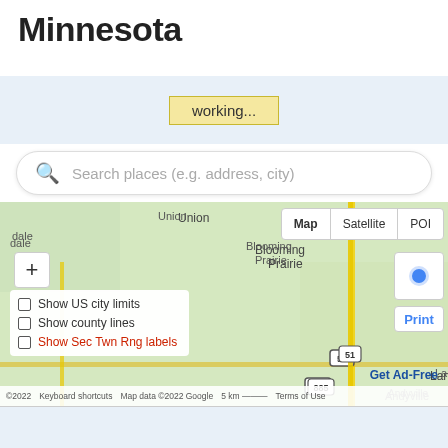Principal Proprietary, Minnesota
[Figure (screenshot): Map search interface with 'working...' loading indicator, search bar with placeholder 'Search places (e.g. address, city)', and an interactive map of southern Minnesota showing towns including Union, Blooming Prairie, Waltham, Sargeant, Lansing, Brownsdale, with map/satellite/POI toggle buttons, zoom controls, checkboxes for Show US city limits, Show county lines, Show Sec Twn Rng labels, a Print button, Get Ad-Free link, and Google Maps attribution.]